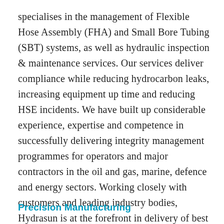specialises in the management of Flexible Hose Assembly (FHA) and Small Bore Tubing (SBT) systems, as well as hydraulic inspection & maintenance services. Our services deliver compliance while reducing hydrocarbon leaks, increasing equipment up time and reducing HSE incidents. We have built up considerable experience, expertise and competence in successfully delivering integrity management programmes for operators and major contractors in the oil and gas, marine, defence and energy sectors. Working closely with customers and leading industry bodies, Hydrasun is at the forefront in delivery of best practise for FHA & SBT.
Precision Manufacturing